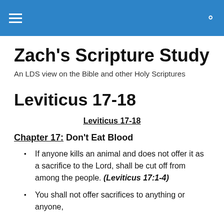Zach's Scripture Study
An LDS view on the Bible and other Holy Scriptures
Leviticus 17-18
Leviticus 17-18
Chapter 17: Don't Eat Blood
If anyone kills an animal and does not offer it as a sacrifice to the Lord, shall be cut off from among the people. (Leviticus 17:1-4)
You shall not offer sacrifices to anything or anyone, except God. (Leviticus 18:7)